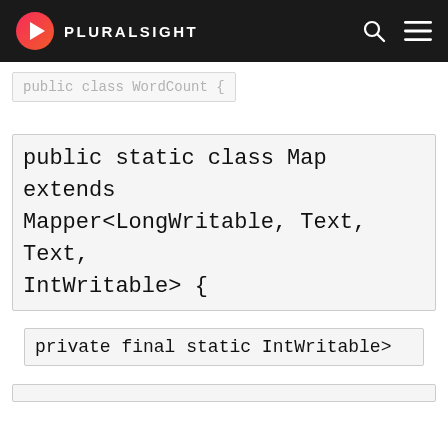PLURALSIGHT
[Figure (screenshot): Partially visible code line: public class WordCount {]
public static class Map extends Mapper<LongWritable, Text, Text, IntWritable> {
private final static IntWritable one = new
We use cookies to make interactions with our websites and services easy and meaningful. For more information about the cookies we use or to find out how you can disable cookies, click here.
ALLOW   DECLINE